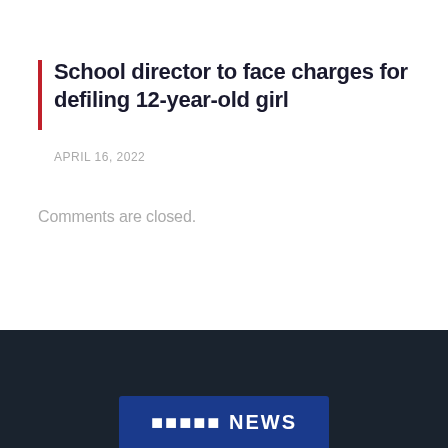School director to face charges for defiling 12-year-old girl
APRIL 16, 2022
Comments are closed.
[Figure (logo): News website logo in dark footer area]